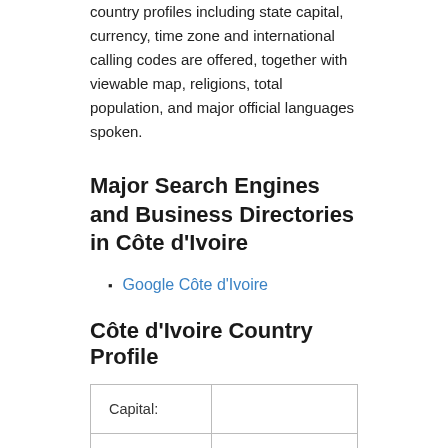country profiles including state capital, currency, time zone and international calling codes are offered, together with viewable map, religions, total population, and major official languages spoken.
Major Search Engines and Business Directories in Côte d'Ivoire
Google Côte d'Ivoire
Côte d'Ivoire Country Profile
|  |  |
| --- | --- |
| Capital: |  |
| Official languages: | French |
| Government: | Republic |